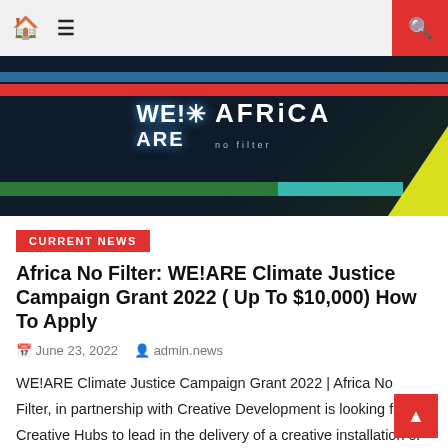Navigation bar with home icon, menu icon, and search button
[Figure (photo): Dark banner image with 'WE!ARE AFRICA' text overlay, red horizontal stripe, green and teal bottom stripes, yellow diagonal element in bottom-right corner]
CURRENT NEWS
Africa No Filter: WE!ARE Climate Justice Campaign Grant 2022 ( Up To $10,000) How To Apply
June 23, 2022  admin.news
WE!ARE Climate Justice Campaign Grant 2022 | Africa No Filter, in partnership with Creative Development is looking for Creative Hubs to lead in the delivery of a creative installation or pop-up showcase, workshops and mentorship programmes which address climate action in relevant and refreshing ways. How to apply, Read through. The creative Hubs in South [...]